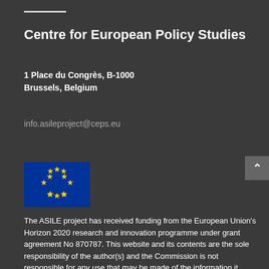Centre for European Policy Studies
1 Place du Congrès, B-1000
Brussels, Belgium
info.asileproject@ceps.eu
[Figure (illustration): European Union flag — blue background with circle of 12 yellow stars]
The ASILE project has received funding from the European Union's Horizon 2020 research and innovation programme under grant agreement No 870787. This website and its contents are the sole responsibility of the author(s) and the Commission is not responsible for any use that may be made of the information it contains